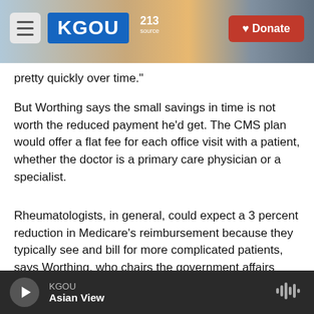[Figure (screenshot): KGOU public radio website header with hamburger menu, KGOU logo in blue, city background photo, and red Donate button]
pretty quickly over time."
But Worthing says the small savings in time is not worth the reduced payment he'd get. The CMS plan would offer a flat fee for each office visit with a patient, whether the doctor is a primary care physician or a specialist.
Rheumatologists, in general, could expect a 3 percent reduction in Medicare's reimbursement because they typically see and bill for more complicated patients, says Worthing, who chairs the government affairs committee for the
KGOU  Asian View